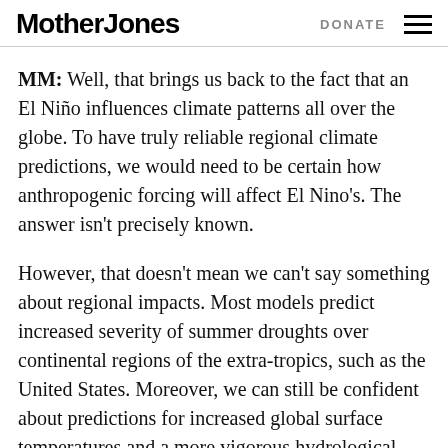Mother Jones | DONATE
MM: Well, that brings us back to the fact that an El Niño influences climate patterns all over the globe. To have truly reliable regional climate predictions, we would need to be certain how anthropogenic forcing will affect El Nino's. The answer isn't precisely known.
However, that doesn't mean we can't say something about regional impacts. Most models predict increased severity of summer droughts over continental regions of the extra-tropics, such as the United States. Moreover, we can still be confident about predictions for increased global surface temperatures and a more vigorous hydrological